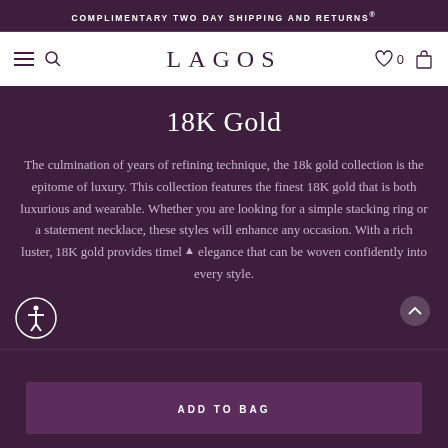COMPLIMENTARY TWO DAY SHIPPING AND RETURNS®
[Figure (logo): LAGOS brand logo with navigation icons: hamburger menu, search, heart/wishlist with 0, and shopping bag]
18K Gold
The culmination of years of refining technique, the 18k gold collection is the epitome of luxury. This collection features the finest 18K gold that is both luxurious and wearable. Whether you are looking for a simple stacking ring or a statement necklace, these styles will enhance any occasion. With a rich luster, 18K gold provides timeless elegance that can be woven confidently into every style.
ADD TO BAG